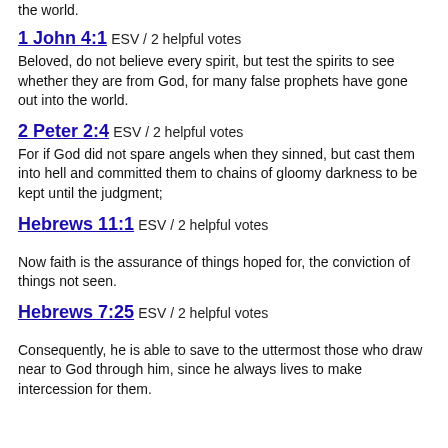the world.
1 John 4:1 ESV / 2 helpful votes
Beloved, do not believe every spirit, but test the spirits to see whether they are from God, for many false prophets have gone out into the world.
2 Peter 2:4 ESV / 2 helpful votes
For if God did not spare angels when they sinned, but cast them into hell and committed them to chains of gloomy darkness to be kept until the judgment;
Hebrews 11:1 ESV / 2 helpful votes
Now faith is the assurance of things hoped for, the conviction of things not seen.
Hebrews 7:25 ESV / 2 helpful votes
Consequently, he is able to save to the uttermost those who draw near to God through him, since he always lives to make intercession for them.